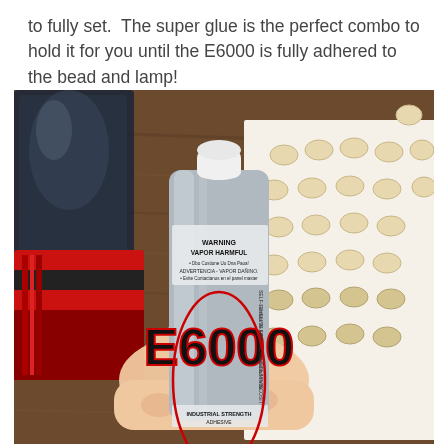to fully set.  The super glue is the perfect combo to hold it for you until the E6000 is fully adhered to the bead and lamp!
[Figure (photo): A hand holding a silver tube of E6000 adhesive glue with a white cap. The label reads 'WARNING VAPOR HARMFUL' and 'E6000 SELF-LEVELING FORMULA'. In the background on the right, multiple small round beads are arranged on white paper on a wooden surface. On the left, a red and black package is partially visible.]